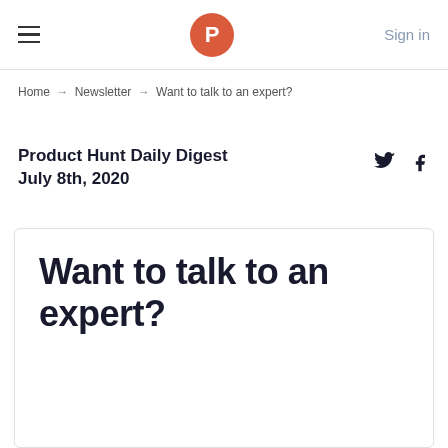≡  P  Sign in
Home → Newsletter → Want to talk to an expert?
Product Hunt Daily Digest
July 8th, 2020
Want to talk to an expert?